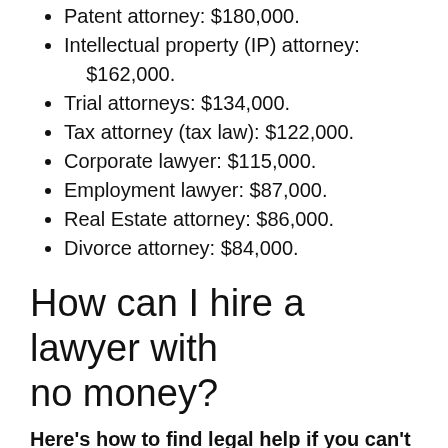Patent attorney: $180,000.
Intellectual property (IP) attorney: $162,000.
Trial attorneys: $134,000.
Tax attorney (tax law): $122,000.
Corporate lawyer: $115,000.
Employment lawyer: $87,000.
Real Estate attorney: $86,000.
Divorce attorney: $84,000.
How can I hire a lawyer with no money?
Here's how to find legal help if you can't afford a lawyer:
Contact the city courthouse.
Seek free lawyer consultations.